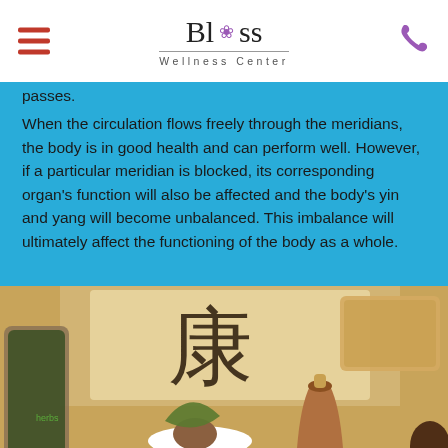Bliss Wellness Center
passes.
When the circulation flows freely through the meridians, the body is in good health and can perform well. However, if a particular meridian is blocked, its corresponding organ's function will also be affected and the body's yin and yang will become unbalanced. This imbalance will ultimately affect the functioning of the body as a whole.
[Figure (photo): A still life arrangement of traditional Chinese medicine herbs and items: a jar of dried herbs, a white ceramic cup with a nut/seed and leaf, a clay bottle with cork, ginger root, garlic bulbs, and other natural ingredients arranged on a surface with a Chinese character (康, meaning health) in the background and a chakra figure card.]